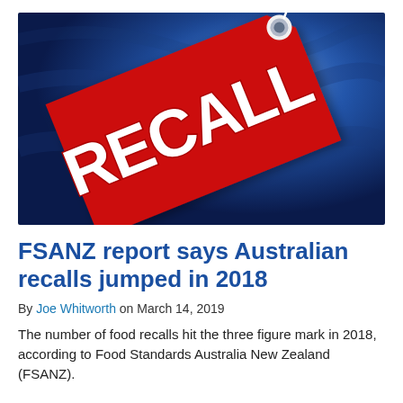[Figure (photo): A red price tag shaped sign with the word RECALL printed in large white bold letters, hanging against a blue fabric background with a white string attached.]
FSANZ report says Australian recalls jumped in 2018
By Joe Whitworth on March 14, 2019
The number of food recalls hit the three figure mark in 2018, according to Food Standards Australia New Zealand (FSANZ).